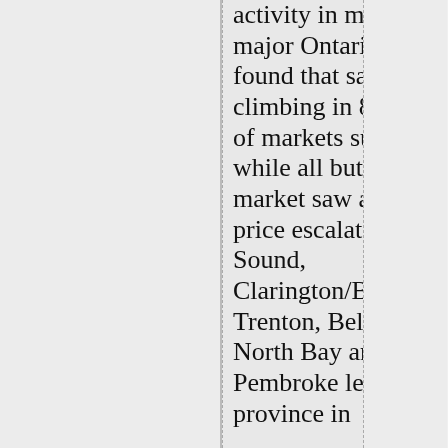activity in more than 30 major Ontario centres, found that sales were climbing in 85 per cent of markets surveyed, while all but one market saw average price escalate. Parry Sound, Clarington/Bowmanville, Trenton, Belleville, North Bay and Pembroke led the province in